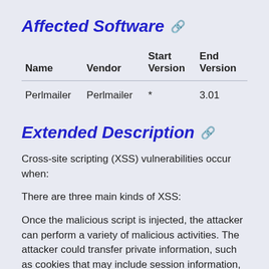Affected Software
| Name | Vendor | Start Version | End Version |
| --- | --- | --- | --- |
| Perlmailer | Perlmailer | * | 3.01 |
Extended Description
Cross-site scripting (XSS) vulnerabilities occur when:
There are three main kinds of XSS:
Once the malicious script is injected, the attacker can perform a variety of malicious activities. The attacker could transfer private information, such as cookies that may include session information, from the victim's